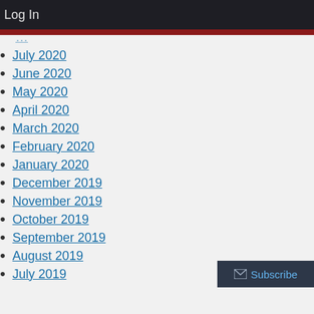Log In
July 2020
June 2020
May 2020
April 2020
March 2020
February 2020
January 2020
December 2019
November 2019
October 2019
September 2019
August 2019
July 2019
June 2019
May 2019